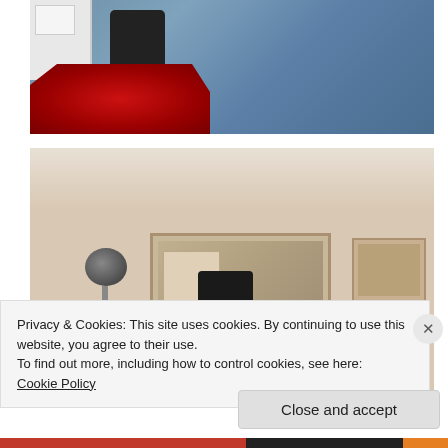[Figure (photo): Top-down view of a room interior showing blue carpet flooring, a red shag rug, a white desk/shelf unit with storage boxes, and a dark office chair]
[Figure (photo): Room interior with cream/beige walls, a large mirror on the wall reflecting shelves and a dark chair, a silver dome-shaped floor lamp, and a framed picture on the right wall]
Privacy & Cookies: This site uses cookies. By continuing to use this website, you agree to their use.
To find out more, including how to control cookies, see here:
Cookie Policy
Close and accept